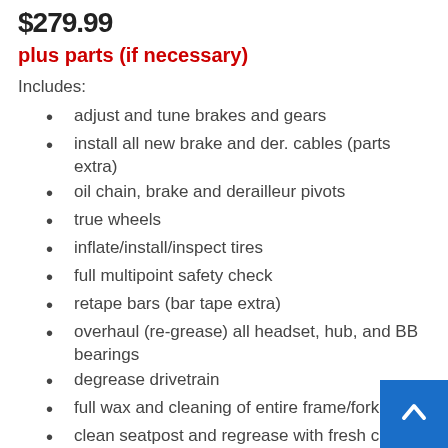$279.99
plus parts (if necessary)
Includes:
adjust and tune brakes and gears
install all new brake and der. cables (parts extra)
oil chain, brake and derailleur pivots
true wheels
inflate/install/inspect tires
full multipoint safety check
retape bars (bar tape extra)
overhaul (re-grease) all headset, hub, and BB bearings
degrease drivetrain
full wax and cleaning of entire frame/fork
clean seatpost and regrease with fresh carbon paste or grease
re-torque cranks, stem, bars, QRs, and seatpost to factory specs
free installation of accessories